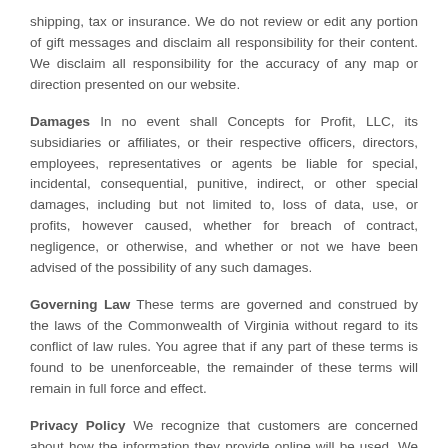shipping, tax or insurance. We do not review or edit any portion of gift messages and disclaim all responsibility for their content. We disclaim all responsibility for the accuracy of any map or direction presented on our website.
Damages In no event shall Concepts for Profit, LLC, its subsidiaries or affiliates, or their respective officers, directors, employees, representatives or agents be liable for special, incidental, consequential, punitive, indirect, or other special damages, including but not limited to, loss of data, use, or profits, however caused, whether for breach of contract, negligence, or otherwise, and whether or not we have been advised of the possibility of any such damages.
Governing Law These terms are governed and construed by the laws of the Commonwealth of Virginia without regard to its conflict of law rules. You agree that if any part of these terms is found to be unenforceable, the remainder of these terms will remain in full force and effect.
Privacy Policy We recognize that customers are concerned about how the information they provide online will be used. We are committed to protecting your privacy and will use the information we collect about you to help process your order request and provide a